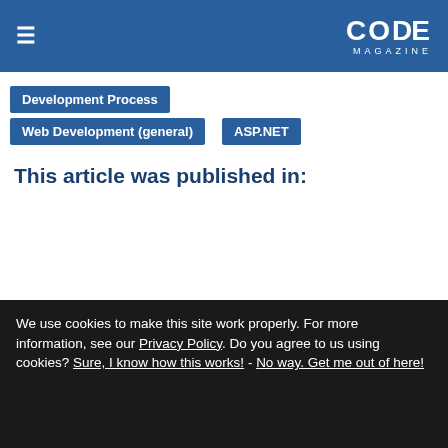CODE Magazine
Development Process
Web Development (general)
ASP.NET
This article was published in:
[Figure (photo): Cover of CODE Magazine featuring a lighthouse on a green background with the text 'Use iBeacons in your Apps!' and a yellow top bar with topic list.]
We use cookies to make this site work properly. For more information, see our Privacy Policy. Do you agree to us using cookies? Sure, I know how this works! - No way. Get me out of here!